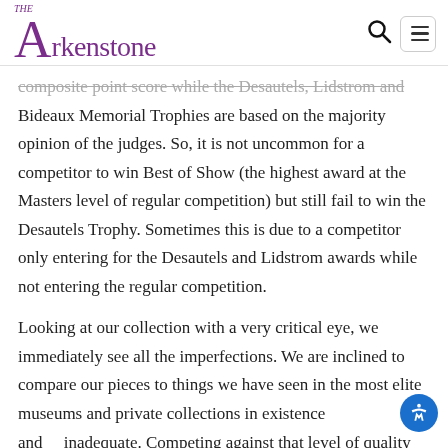The Arkenstone
composite point score while the Desautels, Lidstrom and Bideaux Memorial Trophies are based on the majority opinion of the judges. So, it is not uncommon for a competitor to win Best of Show (the highest award at the Masters level of regular competition) but still fail to win the Desautels Trophy. Sometimes this is due to a competitor only entering for the Desautels and Lidstrom awards while not entering the regular competition.
Looking at our collection with a very critical eye, we immediately see all the imperfections. We are inclined to compare our pieces to things we have seen in the most elite museums and private collections in existence and feel inadequate. Competing against that level of quality may